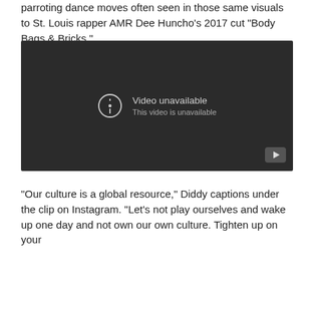parroting dance moves often seen in those same visuals to St. Louis rapper AMR Dee Huncho's 2017 cut “Body Bags & Bricks.”
[Figure (screenshot): Embedded YouTube video player showing a 'Video unavailable / This video is unavailable' error message on a dark background, with a YouTube play button icon in the bottom right corner.]
“Our culture is a global resource,” Diddy captions under the clip on Instagram. “Let’s not play ourselves and wake up one day and not own our own culture. Tighten up on your